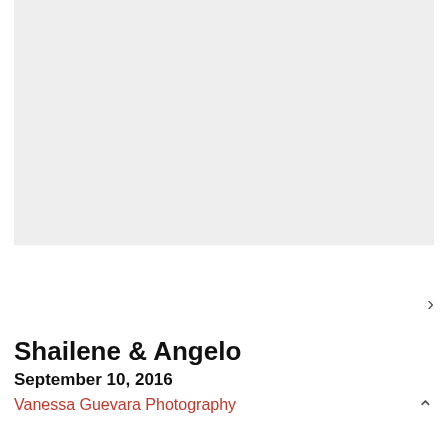[Figure (photo): Light gray rectangular photo placeholder area at the top of the page]
Shailene & Angelo
September 10, 2016
Vanessa Guevara Photography